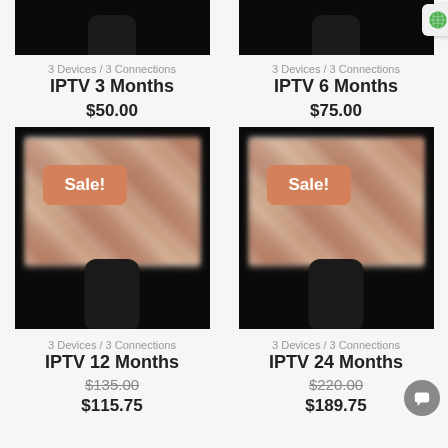[Figure (photo): Partial view of IPTV remote control product image (top cropped), left column]
[Figure (photo): Partial view of IPTV remote control product image (top cropped), right column, with globe icon badge]
3 Devices / 3 Connections
IPTV 3 Months
$50.00
3 Devices / 3 Connections
IPTV 6 Months
$75.00
[Figure (photo): TV with streaming content visible and remote control, Sale! badge overlay, left column]
[Figure (photo): TV with streaming content visible and remote control, Sale! badge overlay, right column]
3 Devices / 3 Connections
IPTV 12 Months
$135.00
$115.75
3 Devices / 3 Connections
IPTV 24 Months
$220.00
$189.75